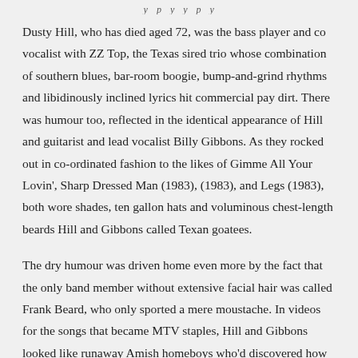…y p y y p y
Dusty Hill, who has died aged 72, was the bass player and co vocalist with ZZ Top, the Texas sired trio whose combination of southern blues, bar-room boogie, bump-and-grind rhythms and libidinously inclined lyrics hit commercial pay dirt. There was humour too, reflected in the identical appearance of Hill and guitarist and lead vocalist Billy Gibbons. As they rocked out in co-ordinated fashion to the likes of Gimme All Your Lovin', Sharp Dressed Man (1983), (1983), and Legs (1983), both wore shades, ten gallon hats and voluminous chest-length beards Hill and Gibbons called Texan goatees.
The dry humour was driven home even more by the fact that the only band member without extensive facial hair was called Frank Beard, who only sported a mere moustache. In videos for the songs that became MTV staples, Hill and Gibbons looked like runaway Amish homeboys who'd discovered how to have a good time.